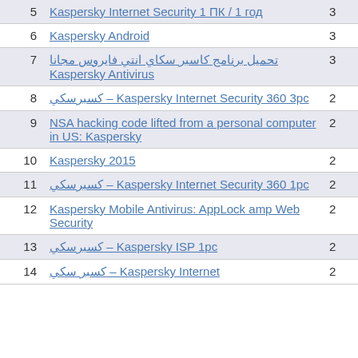| # | Title | Count |
| --- | --- | --- |
| 5 | Kaspersky Internet Security 1 ПК / 1 год | 3 |
| 6 | Kaspersky Android | 3 |
| 7 | تحميل برنامج كاسبر سكاي انتي فايروس مجانا Kaspersky Antivirus | 3 |
| 8 | كسبرسكي – Kaspersky Internet Security 360 3pc | 2 |
| 9 | NSA hacking code lifted from a personal computer in US: Kaspersky | 2 |
| 10 | Kaspersky 2015 | 2 |
| 11 | كسبرسكي – Kaspersky Internet Security 360 1pc | 2 |
| 12 | Kaspersky Mobile Antivirus: AppLock amp Web Security | 2 |
| 13 | كسبرسكي – Kaspersky ISP 1pc | 2 |
| 14 | كسبر سكي – Kaspersky Internet | 2 |